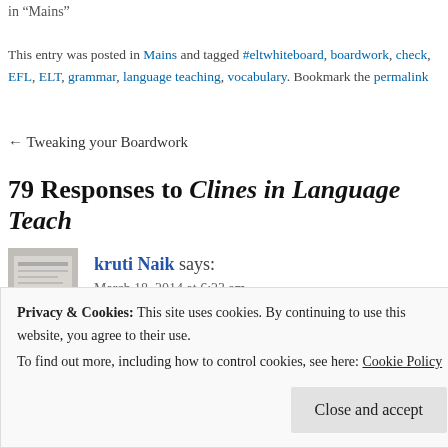in "Mains"
This entry was posted in Mains and tagged #eltwhiteboard, boardwork, check, EFL, ELT, grammar, language teaching, vocabulary. Bookmark the permalink
← Tweaking your Boardwork
79 Responses to Clines in Language Teaching
kruti Naik says:
March 18, 2014 at 6:23 am
This is amazing. Thank you for such a detailed illustrat
Privacy & Cookies: This site uses cookies. By continuing to use this website, you agree to their use.
To find out more, including how to control cookies, see here: Cookie Policy